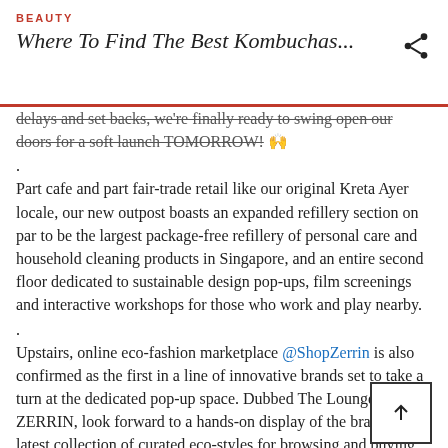BEAUTY
Where To Find The Best Kombuchas...
delays and set backs, we're finally ready to swing open our doors for a soft launch TOMORROW! 🙌
.
Part cafe and part fair-trade retail like our original Kreta Ayer locale, our new outpost boasts an expanded refillery section on par to be the largest package-free refillery of personal care and household cleaning products in Singapore, and an entire second floor dedicated to sustainable design pop-ups, film screenings and interactive workshops for those who work and play nearby.
.
Upstairs, online eco-fashion marketplace @ShopZerrin is also confirmed as the first in a line of innovative brands set to take a turn at the dedicated pop-up space. Dubbed The Lounge by ZERRIN, look forward to a hands-on display of the brand's latest collection of curated eco-styles for browsing and buying. 🛍
.
With a long community gathering table at one end and a slate shop-in-shop space for like-minded brands to pop-up at the other, our all-new second floor loft is quite literally a platform designed to encourage collaboration and